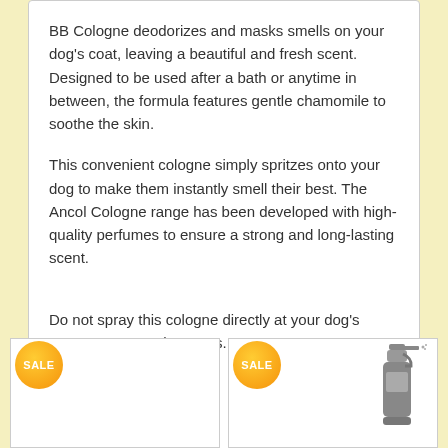BB Cologne deodorizes and masks smells on your dog's coat, leaving a beautiful and fresh scent. Designed to be used after a bath or anytime in between, the formula features gentle chamomile to soothe the skin.
This convenient cologne simply spritzes onto your dog to make them instantly smell their best. The Ancol Cologne range has been developed with high-quality perfumes to ensure a strong and long-lasting scent.
Do not spray this cologne directly at your dog's eyes, nose, mouth or ears.
You may also like
[Figure (other): Two sale product cards side by side, each with an orange SALE badge circle. The right card shows a gray spray bottle product image.]